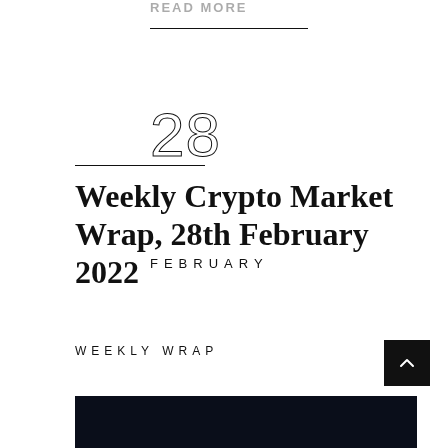READ MORE
28
FEBRUARY
Weekly Crypto Market Wrap, 28th February 2022
WEEKLY WRAP
[Figure (photo): Dark/night themed image at bottom of page, partially visible]